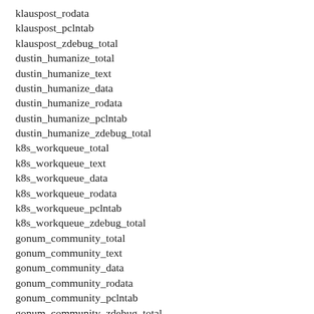klauspost_rodata
klauspost_pclntab
klauspost_zdebug_total
dustin_humanize_total
dustin_humanize_text
dustin_humanize_data
dustin_humanize_rodata
dustin_humanize_pclntab
dustin_humanize_zdebug_total
k8s_workqueue_total
k8s_workqueue_text
k8s_workqueue_data
k8s_workqueue_rodata
k8s_workqueue_pclntab
k8s_workqueue_zdebug_total
gonum_community_total
gonum_community_text
gonum_community_data
gonum_community_rodata
gonum_community_pclntab
gonum_community_zdebug_total
gonum_traverse_total